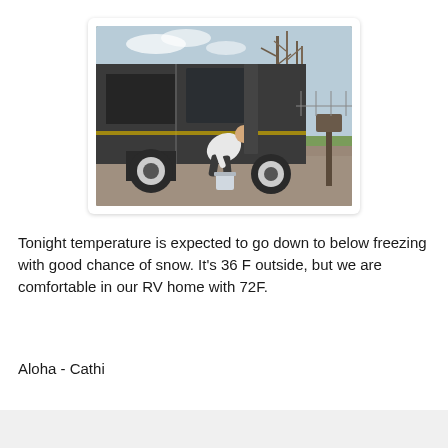[Figure (photo): A person bending down beside a large dark-colored high-roof van/RV, appearing to pick up or place a bucket on gravel ground. The van door is open. Trees and a driveway are visible in the background. The photo has a white border/frame with slight shadow giving a polaroid-like appearance.]
Tonight temperature is expected to go down to below freezing with good chance of snow. It's 36 F outside, but we are comfortable in our RV home with 72F.
Aloha - Cathi